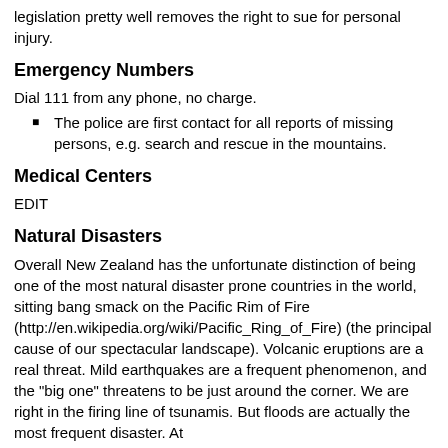legislation pretty well removes the right to sue for personal injury.
Emergency Numbers
Dial 111 from any phone, no charge.
The police are first contact for all reports of missing persons, e.g. search and rescue in the mountains.
Medical Centers
EDIT
Natural Disasters
Overall New Zealand has the unfortunate distinction of being one of the most natural disaster prone countries in the world, sitting bang smack on the Pacific Rim of Fire (http://en.wikipedia.org/wiki/Pacific_Ring_of_Fire) (the principal cause of our spectacular landscape). Volcanic eruptions are a real threat. Mild earthquakes are a frequent phenomenon, and the "big one" threatens to be just around the corner. We are right in the firing line of tsunamis. But floods are actually the most frequent disaster. At least and fires are actually also the whole the age one.